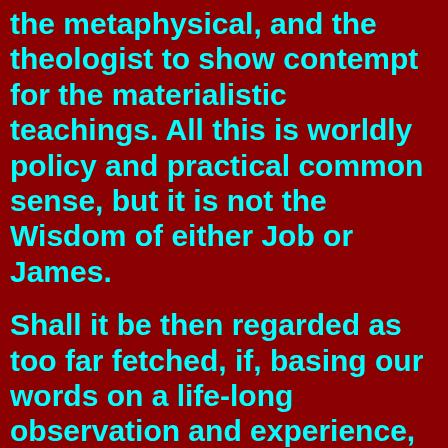the metaphysical, and the theologist to show contempt for the materialistic teachings. All this is worldly policy and practical common sense, but it is not the Wisdom of either Job or James.
Shall it be then regarded as too far fetched, if, basing our words on a life-long observation and experience, we venture to offer our ideas as to the quickest and most efficient means of obtaining our present World's universal respect and becoming an "authority"? Show the tender regard